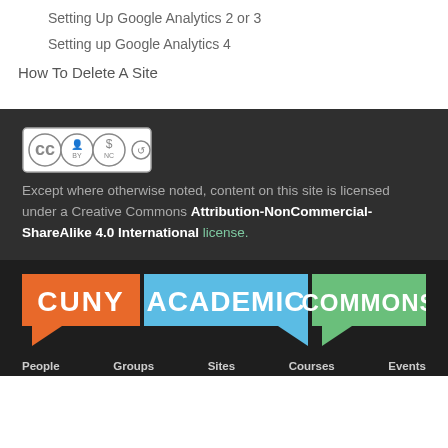Setting Up Google Analytics 2 or 3
Setting up Google Analytics 4
How To Delete A Site
[Figure (logo): Creative Commons BY-NC-SA license badge]
Except where otherwise noted, content on this site is licensed under a Creative Commons Attribution-NonCommercial-ShareAlike 4.0 International license.
[Figure (logo): CUNY Academic Commons logo with three colored speech bubbles: orange (CUNY), blue (ACADEMIC), green (COMMONS)]
People   Groups   Sites   Courses   Events